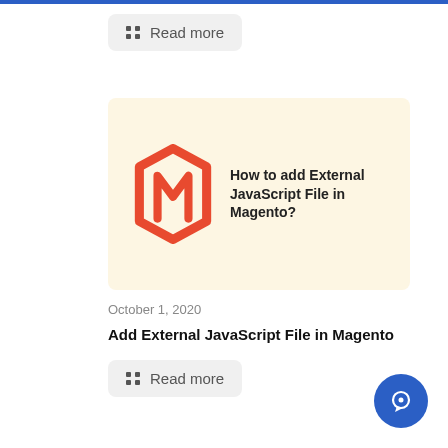Read more
[Figure (screenshot): Magento logo with text: How to add External JavaScript File in Magento?]
October 1, 2020
Add External JavaScript File in Magento
Read more